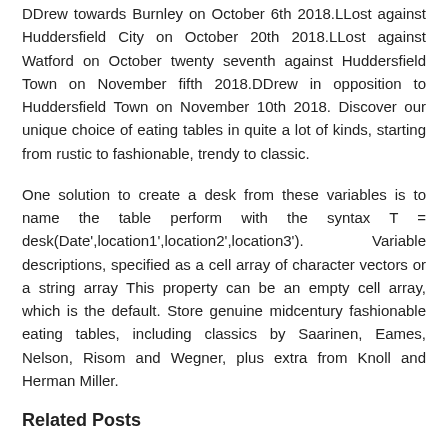DDrew towards Burnley on October 6th 2018.LLost against Huddersfield City on October 20th 2018.LLost against Watford on October twenty seventh against Huddersfield Town on November fifth 2018.DDrew in opposition to Huddersfield Town on November 10th 2018. Discover our unique choice of eating tables in quite a lot of kinds, starting from rustic to fashionable, trendy to classic.
One solution to create a desk from these variables is to name the table perform with the syntax T = desk(Date',location1',location2',location3'). Variable descriptions, specified as a cell array of character vectors or a string array This property can be an empty cell array, which is the default. Store genuine midcentury fashionable eating tables, including classics by Saarinen, Eames, Nelson, Risom and Wegner, plus extra from Knoll and Herman Miller.
Related Posts
Active Chairs For Your Home And Office
All Tables
Beds, Storage, Tables, Chairs & More
Premier League Table & Standings